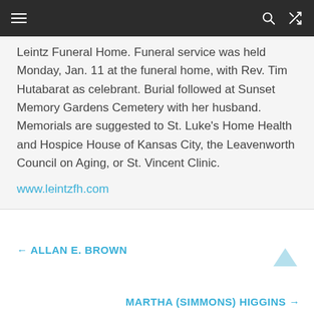[navigation bar with hamburger menu, search icon, and shuffle icon]
Leintz Funeral Home. Funeral service was held Monday, Jan. 11 at the funeral home, with Rev. Tim Hutabarat as celebrant. Burial followed at Sunset Memory Gardens Cemetery with her husband. Memorials are suggested to St. Luke’s Home Health and Hospice House of Kansas City, the Leavenworth Council on Aging, or St. Vincent Clinic.
www.leintzfh.com
← ALLAN E. BROWN
MARTHA (SIMMONS) HIGGINS →